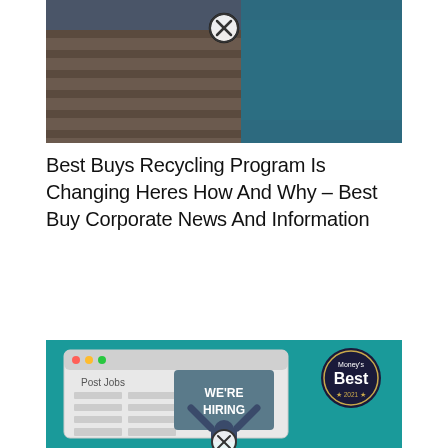[Figure (photo): A Best Buy store exterior at night or dusk, with the building facade partially visible. A circle X (close) button icon overlays the top center of the image.]
Best Buys Recycling Program Is Changing Heres How And Why – Best Buy Corporate News And Information
[Figure (illustration): An illustration on a teal background showing a browser window mockup with 'Post Jobs' header and form fields, with a person holding up a 'WE'RE HIRING' sign. A circular 'Money's Best 2021' badge/seal appears in the upper right. A circle X (close) button overlays the bottom center.]